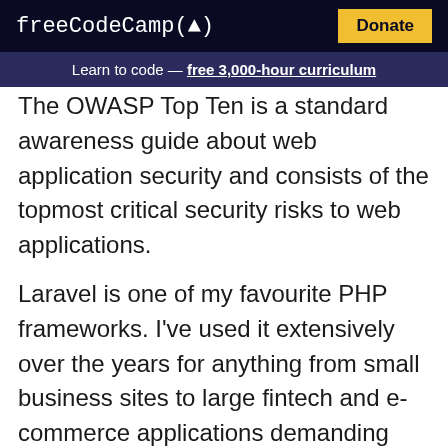freeCodeCamp(🔥) Donate
Learn to code — free 3,000-hour curriculum
The OWASP Top Ten is a standard awareness guide about web application security and consists of the topmost critical security risks to web applications.
Laravel is one of my favourite PHP frameworks. I've used it extensively over the years for anything from small business sites to large fintech and e-commerce applications demanding security at the core.
The great thing is, Laravel takes care of many of these security features out the box.